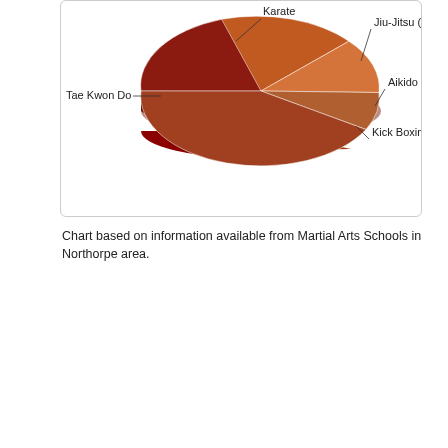[Figure (pie-chart): Martial Arts Schools]
Chart based on information available from Martial Arts Schools in Northorpe area.